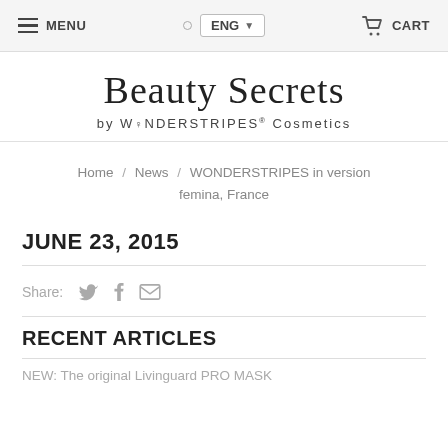MENU | ENG | CART
Beauty Secrets by WONDERSTRIPES® Cosmetics
Home / News / WONDERSTRIPES in version femina, France
JUNE 23, 2015
Share:
RECENT ARTICLES
NEW: The original Livinguard PRO MASK